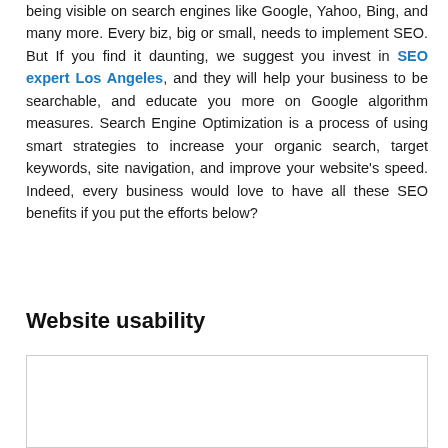being visible on search engines like Google, Yahoo, Bing, and many more. Every biz, big or small, needs to implement SEO. But If you find it daunting, we suggest you invest in SEO expert Los Angeles, and they will help your business to be searchable, and educate you more on Google algorithm measures. Search Engine Optimization is a process of using smart strategies to increase your organic search, target keywords, site navigation, and improve your website's speed. Indeed, every business would love to have all these SEO benefits if you put the efforts below?
Website usability
[Figure (other): Empty white image box with a light gray border]